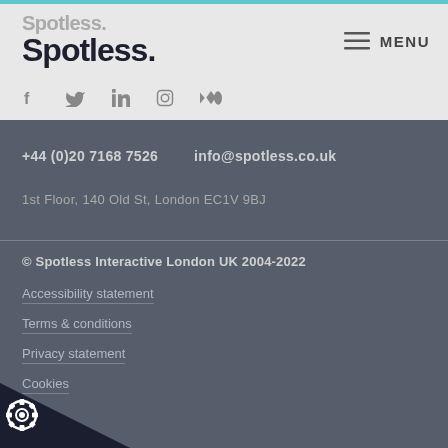Spotless. Spotless. [logo with social icons: f, Twitter, LinkedIn, Instagram, Medium] MENU
+44 (0)20 7168 7526    info@spotless.co.uk
1st Floor, 140 Old St, London EC1V 9BJ
© Spotless Interactive London UK 2004-2022
Accessibility statement
Terms & conditions
Privacy statement
Cookies
[Figure (logo): Cookie consent gear icon in bottom-left corner over dark triangle]